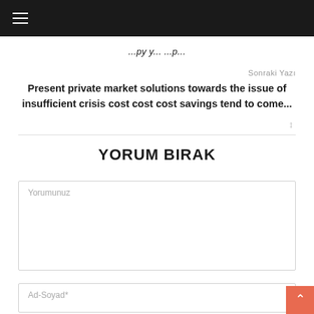Navigation bar with hamburger menu
Present private market solutions towards the issue of insufficient crisis cost cost cost savings tend to come...
Sonraki Yazı
YORUM BIRAK
Yorumunuz
Ad-Soyad*